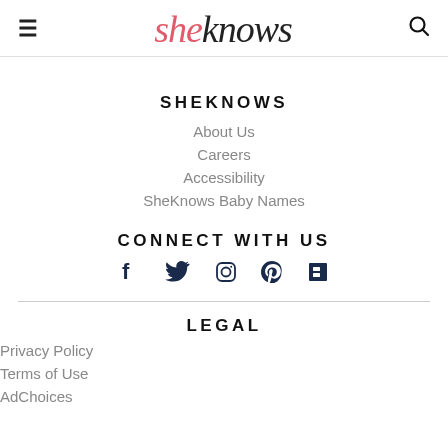sheknows
SHEKNOWS
About Us
Careers
Accessibility
SheKnows Baby Names
CONNECT WITH US
[Figure (other): Social media icons: Facebook, Twitter, Instagram, Pinterest, Flipboard]
LEGAL
Privacy Policy
Terms of Use
AdChoices